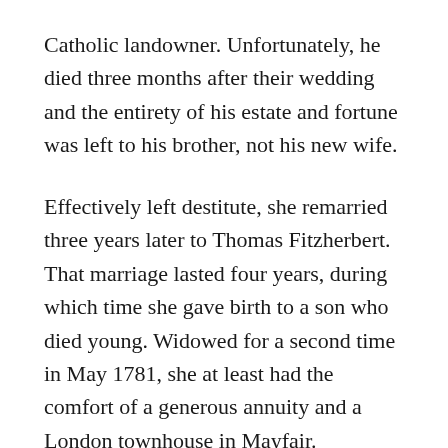Catholic landowner. Unfortunately, he died three months after their wedding and the entirety of his estate and fortune was left to his brother, not his new wife.
Effectively left destitute, she remarried three years later to Thomas Fitzherbert. That marriage lasted four years, during which time she gave birth to a son who died young. Widowed for a second time in May 1781, she at least had the comfort of a generous annuity and a London townhouse in Mayfair.
She made her way slowly from Nice, where Fitzherbert died, to Paris and finally landed in London. It was one night at the opera in 1784 that she caught the eye of